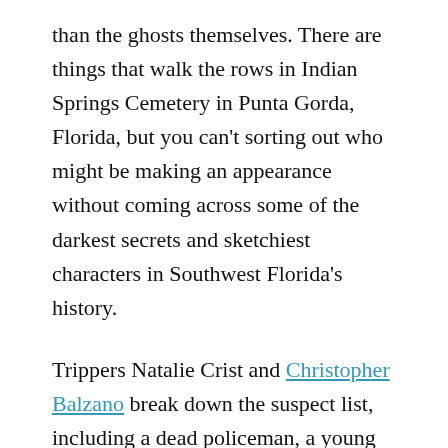than the ghosts themselves. There are things that walk the rows in Indian Springs Cemetery in Punta Gorda, Florida, but you can't sorting out who might be making an appearance without coming across some of the darkest secrets and sketchiest characters in Southwest Florida's history.
Trippers Natalie Crist and Christopher Balzano break down the suspect list, including a dead policeman, a young girl who maybe destined to haunt two different locations, and a love triangle whose fingers might be in all the other stories.
Thank you to Richie Ferrara for bringing us the lead on Indian Springs and History's Mysteries of Southwest Florida for much of the research